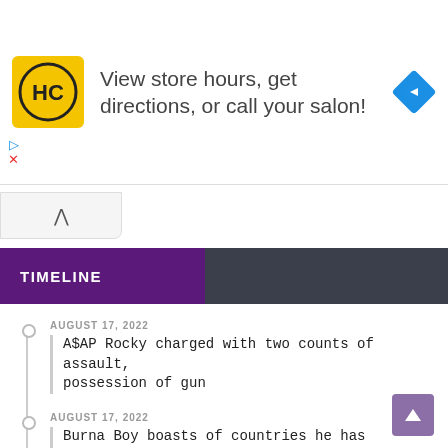[Figure (other): Advertisement banner for a hair salon (HC logo in yellow square). Text: 'View store hours, get directions, or call your salon!' with a blue navigation diamond icon on the right.]
TIMELINE
AUGUST 17, 2022
A$AP Rocky charged with two counts of assault, possession of gun
AUGUST 17, 2022
Burna Boy boasts of countries he has performed
AUGUST 17, 2022